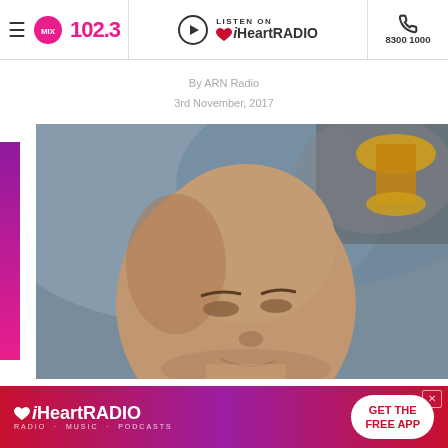MIX 102.3 | LISTEN ON iHeartRADIO | 83001000
By ARN Radio
3rd November, 2017
[Figure (photo): Close-up photo of a bald male athlete (Andre Agassi) looking upward, with a trophy partially visible in the upper right corner. Background is blurred bluish/crowd tones.]
[Figure (logo): iHeartRADIO advertisement banner: pink-to-red gradient background with iHeartRADIO logo on the left and a white 'GET THE FREE APP' button on the right.]